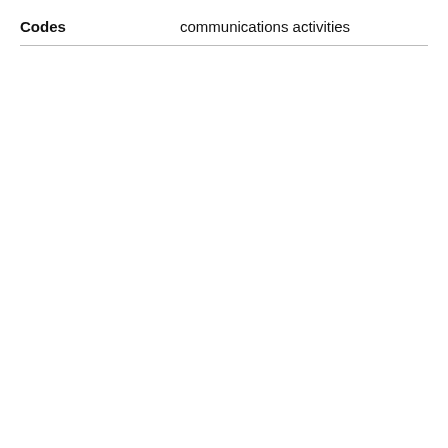| Codes | communications activities |
| --- | --- |